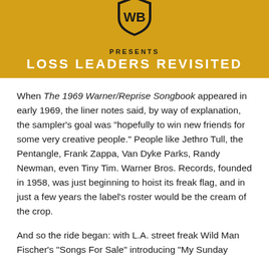[Figure (logo): Warner Bros. Records shield logo in black on yellow/gold background with text PRESENTS LOSS LEADERS REVISITED]
When The 1969 Warner/Reprise Songbook appeared in early 1969, the liner notes said, by way of explanation, the sampler’s goal was “hopefully to win new friends for some very creative people.”  People like Jethro Tull, the Pentangle, Frank Zappa, Van Dyke Parks, Randy Newman, even Tiny Tim.  Warner Bros. Records, founded in 1958, was just beginning to hoist its freak flag, and in just a few years the label’s roster would be the cream of the crop.
And so the ride began: with L.A. street freak Wild Man Fischer’s “Songs For Sale” introducing “My Sunday